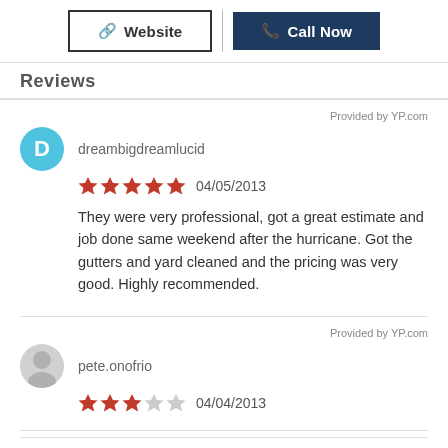[Figure (screenshot): Two buttons: Website (outlined) and Call Now (dark navy background)]
Reviews
Provided by YP.com
dreambigdreamlucid
5 stars  04/05/2013
They were very professional, got a great estimate and job done same weekend after the hurricane. Got the gutters and yard cleaned and the pricing was very good. Highly recommended.
Provided by YP.com
pete.onofrio
3 stars  04/04/2013